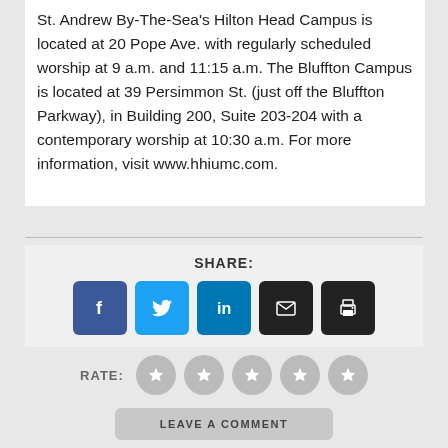St. Andrew By-The-Sea's Hilton Head Campus is located at 20 Pope Ave. with regularly scheduled worship at 9 a.m. and 11:15 a.m. The Bluffton Campus is located at 39 Persimmon St. (just off the Bluffton Parkway), in Building 200, Suite 203-204 with a contemporary worship at 10:30 a.m. For more information, visit www.hhiumc.com.
SHARE:
[Figure (infographic): Social share buttons: Facebook (blue), Twitter (light blue), LinkedIn (blue), Email (black), Print (black)]
RATE:
[Figure (infographic): Five grey star rating circles, all unselected]
LEAVE A COMMENT